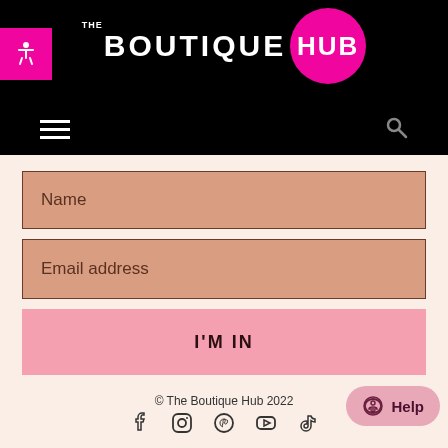[Figure (logo): The Boutique Hub logo: white text 'THE BOUTIQUE' with 'HUB' in a pink circle, on black background]
[Figure (infographic): Website form with Name and Email address input fields, 'I'M IN' submit button, copyright footer and social media icons]
© The Boutique Hub 2022